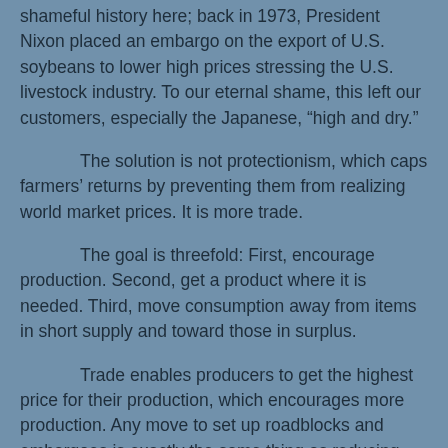shameful history here; back in 1973, President Nixon placed an embargo on the export of U.S. soybeans to lower high prices stressing the U.S. livestock industry. To our eternal shame, this left our customers, especially the Japanese, “high and dry.”
The solution is not protectionism, which caps farmers’ returns by preventing them from realizing world market prices. It is more trade.
The goal is threefold: First, encourage production. Second, get a product where it is needed. Third, move consumption away from items in short supply and toward those in surplus.
Trade enables producers to get the highest price for their production, which encourages more production. Any move to set up roadblocks and embargoes is exactly the same thing as reducing returns to producers, which reduces the incentive